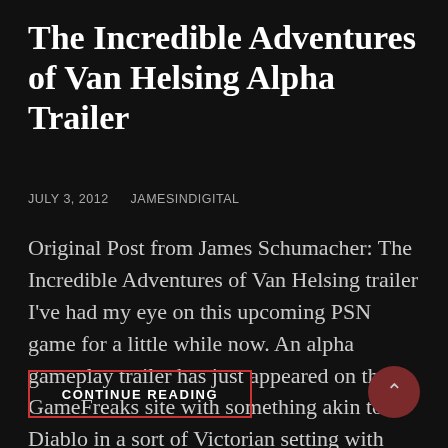The Incredible Adventures of Van Helsing Alpha Trailer
JULY 3, 2012   JAMESINDIGITAL
Original Post from James Schumacher: The Incredible Adventures of Van Helsing trailer I've had my eye on this upcoming PSN game for a little while now. An alpha gameplay trailer has just appeared on the GameFreaks site with something akin to Diablo in a sort of Victorian setting with Vampire
CONTINUE READING